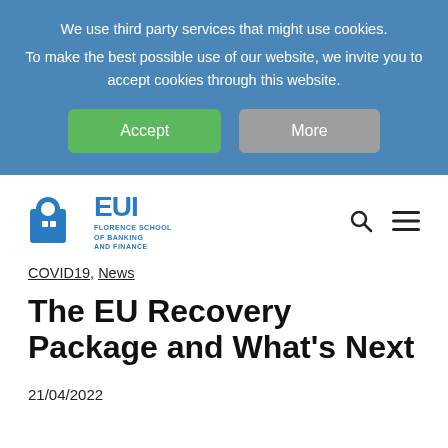We use third party services that might use cookies. To make the best possible use of our website, we invite you to accept cookies through this website.
Accept
More
[Figure (logo): EUI Florence School of Banking and Finance logo with search and hamburger menu icons]
COVID19, News
The EU Recovery Package and What's Next
21/04/2022